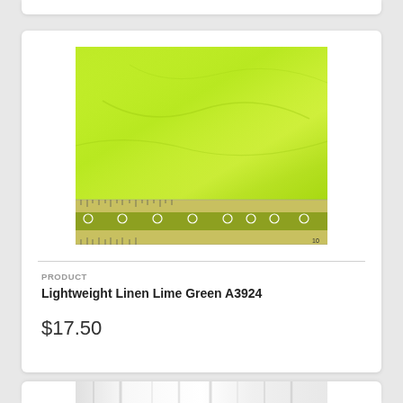[Figure (photo): Close-up photo of lime green lightweight linen fabric with a ruler/measuring tape along the bottom edge showing measurements]
PRODUCT
Lightweight Linen Lime Green A3924
$17.50
[Figure (photo): Partial bottom card showing white fabric or material — partially cut off]